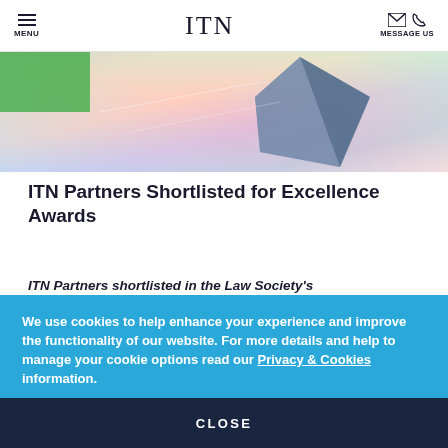MENU | ITN | MESSAGE US
[Figure (photo): Abstract iridescent crystal/diamond image with colorful light reflections and a geometric dark crystal shape]
ITN Partners Shortlisted for Excellence Awards
ITN Partners shortlisted in the Law Society's
We use cookies to help enhance your experience and improve the functionality of our website. For more details and help to manage your cookie options read our Privacy & Cookies information.
CLOSE